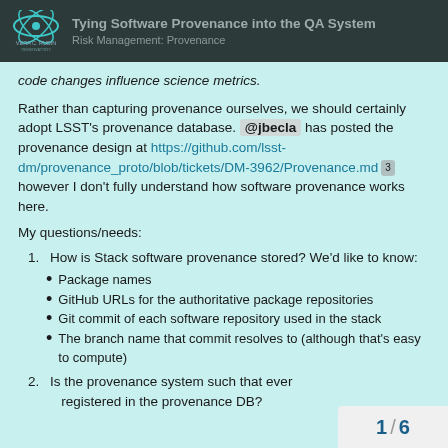Tying Software Provenance into the QA System | Risk Management: Provenance
code changes influence science metrics.
Rather than capturing provenance ourselves, we should certainly adopt LSST's provenance database. @jbecla has posted the provenance design at https://github.com/lsst-dm/provenance_proto/blob/tickets/DM-3962/Provenance.md [3] however I don't fully understand how software provenance works here.
My questions/needs:
1. How is Stack software provenance stored? We'd like to know:
Package names
GitHub URLs for the authoritative package repositories
Git commit of each software repository used in the stack
The branch name that commit resolves to (although that's easy to compute)
2. Is the provenance system such that every Stack run is registered in the provenance DB?
1 / 6